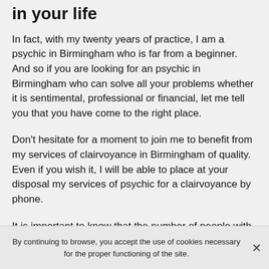in your life
In fact, with my twenty years of practice, I am a psychic in Birmingham who is far from a beginner. And so if you are looking for an psychic in Birmingham who can solve all your problems whether it is sentimental, professional or financial, let me tell you that you have come to the right place.
Don't hesitate for a moment to join me to benefit from my services of clairvoyance in Birmingham of quality. Even if you wish it, I will be able to place at your disposal my services of psychic for a clairvoyance by phone.
It is important to know that the number of people with real clairvoyance is quite limited and if you have to search for serious and honest clairvoyants, you should not be
By continuing to browse, you accept the use of cookies necessary for the proper functioning of the site.